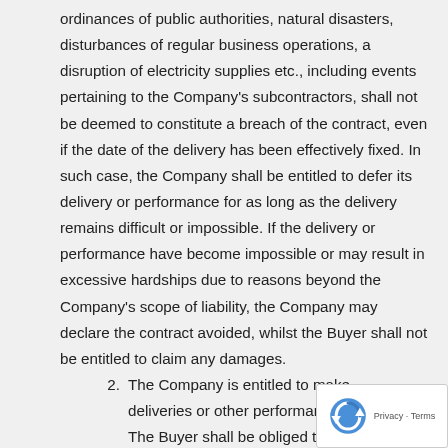ordinances of public authorities, natural disasters, disturbances of regular business operations, a disruption of electricity supplies etc., including events pertaining to the Company's subcontractors, shall not be deemed to constitute a breach of the contract, even if the date of the delivery has been effectively fixed. In such case, the Company shall be entitled to defer its delivery or performance for as long as the delivery remains difficult or impossible. If the delivery or performance have become impossible or may result in excessive hardships due to reasons beyond the Company's scope of liability, the Company may declare the contract avoided, whilst the Buyer shall not be entitled to claim any damages.
2. The Company is entitled to make deliveries or other performances in parts. The Buyer shall be obliged to take such partial deliveries. Should the Buyer be in default taking the delivery, it shall be obliged to redress any resulting damages, including reimbursing additional costs